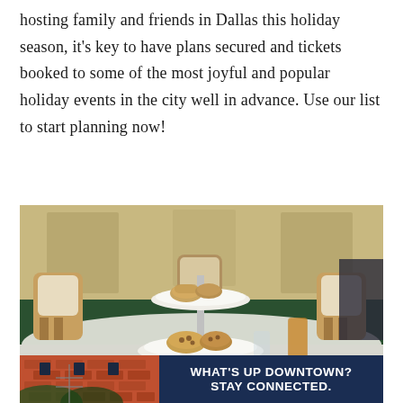hosting family and friends in Dallas this holiday season, it's key to have plans secured and tickets booked to some of the most joyful and popular holiday events in the city well in advance. Use our list to start planning now!
[Figure (photo): A two-tiered serving stand with scones and cookies on plates, set in an elegant restaurant dining room with upholstered chairs, white tablecloths, and a glass of tea on the table. At the bottom is a banner overlay with a photo of a brick building on the left and a dark navy box on the right reading 'WHAT'S UP DOWNTOWN? STAY CONNECTED.']